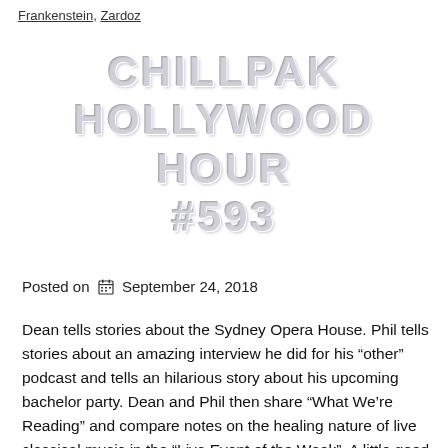Frankenstein, Zardoz
CHILLPAK HOLLYWOOD HOUR #593
Posted on  September 24, 2018
Dean tells stories about the Sydney Opera House. Phil tells stories about an amazing interview he did for his “other” podcast and tells an hilarious story about his upcoming bachelor party. Dean and Phil then share “What We’re Reading” and compare notes on the healing nature of live classical music in the “Live Event of the Week”. A little good news about HBO’s terrific “Barry” is shared in discussion of the Emmy Awards and Dean sings the praises of the Canadian adventure series “Frontier”. Then, your friends in